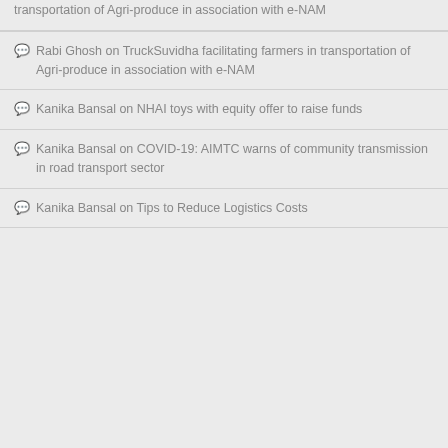transportation of Agri-produce in association with e-NAM
Rabi Ghosh on TruckSuvidha facilitating farmers in transportation of Agri-produce in association with e-NAM
Kanika Bansal on NHAI toys with equity offer to raise funds
Kanika Bansal on COVID-19: AIMTC warns of community transmission in road transport sector
Kanika Bansal on Tips to Reduce Logistics Costs